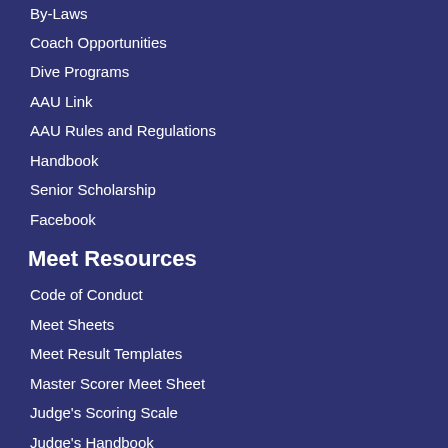By-Laws
Coach Opportunities
Dive Programs
AAU Link
AAU Rules and Regulations
Handbook
Senior Scholarship
Facebook
Meet Resources
Code of Conduct
Meet Sheets
Meet Result Templates
Master Scorer Meet Sheet
Judge's Scoring Scale
Judge's Handbook
Table Worker Volunteer Info
Table Worker Dive Sheet Examples